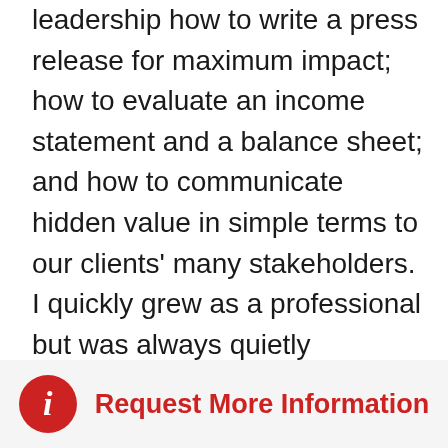leadership how to write a press release for maximum impact; how to evaluate an income statement and a balance sheet; and how to communicate hidden value in simple terms to our clients' many stakeholders. I quickly grew as a professional but was always quietly observing the leaders of the firm, storing away heaps of knowledge and learning new strategies and tactics that informed my perspective on agency, life, and practices.

In my early days at KCSA, I was really rough
Request More Information